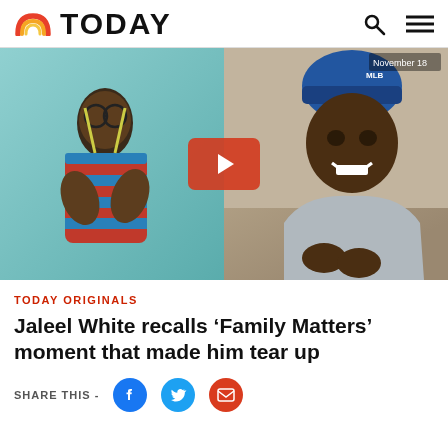TODAY
[Figure (photo): Split image showing Jaleel White as Steve Urkel from Family Matters on the left, and Jaleel White as an adult in a video call on the right, with a red play button overlay in the center.]
TODAY ORIGINALS
Jaleel White recalls ‘Family Matters’ moment that made him tear up
SHARE THIS -